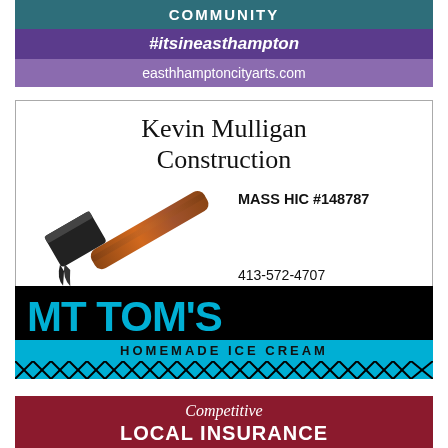[Figure (infographic): Community banner ad for Easthampton City Arts with teal, purple, and mauve bars reading COMMUNITY, #itsineasthampton, easthhamptoncityarts.com]
[Figure (infographic): Kevin Mulligan Construction ad with hammer image, MASS HIC #148787, phone 413-572-4707, Easthampton MA, Licensed and Insured]
[Figure (infographic): MT TOM'S Homemade Ice Cream logo on black background with cyan lettering and decorative pattern]
[Figure (infographic): Competitive LOCAL INSURANCE ad on dark red background]